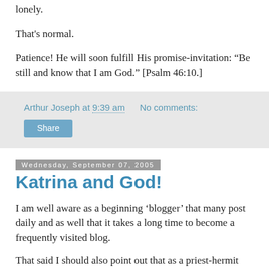lonely.
That's normal.
Patience! He will soon fulfill His promise-invitation: “Be still and know that I am God.” [Psalm 46:10.]
Arthur Joseph at 9:39 am   No comments:
Share
Wednesday, September 07, 2005
Katrina and God!
I am well aware as a beginning ‘blogger’ that many post daily and as well that it takes a long time to become a frequently visited blog.
That said I should also point out that as a priest-hermit the prime duty of the moment in my vocation is prayer.